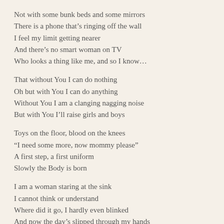Not with some bunk beds and some mirrors
There is a phone that’s ringing off the wall
I feel my limit getting nearer
And there’s no smart woman on TV
Who looks a thing like me, and so I know…
That without You I can do nothing
Oh but with You I can do anything
Without You I am a clanging nagging noise
But with You I’ll raise girls and boys
Toys on the floor, blood on the knees
“I need some more, now mommy please”
A first step, a first uniform
Slowly the Body is born
I am a woman staring at the sink
I cannot think or understand
Where did it go, I hardly even blinked
And now the day’s slipped through my hands
Oh please, grant me a new start
With a fresh and fervent heart, help me, I know…
That without You I can do nothing